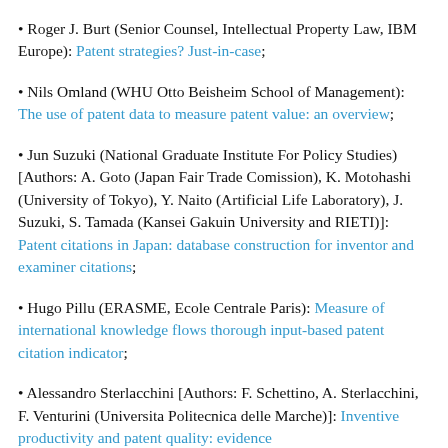Roger J. Burt (Senior Counsel, Intellectual Property Law, IBM Europe): Patent strategies? Just-in-case;
Nils Omland (WHU Otto Beisheim School of Management): The use of patent data to measure patent value: an overview;
Jun Suzuki (National Graduate Institute For Policy Studies) [Authors: A. Goto (Japan Fair Trade Comission), K. Motohashi (University of Tokyo), Y. Naito (Artificial Life Laboratory), J. Suzuki, S. Tamada (Kansei Gakuin University and RIETI)]: Patent citations in Japan: database construction for inventor and examiner citations;
Hugo Pillu (ERASME, Ecole Centrale Paris): Measure of international knowledge flows thorough input-based patent citation indicator;
Alessandro Sterlacchini [Authors: F. Schettino, A. Sterlacchini, F. Venturini (Universita Politecnica delle Marche)]: Inventive productivity and patent quality: evidence